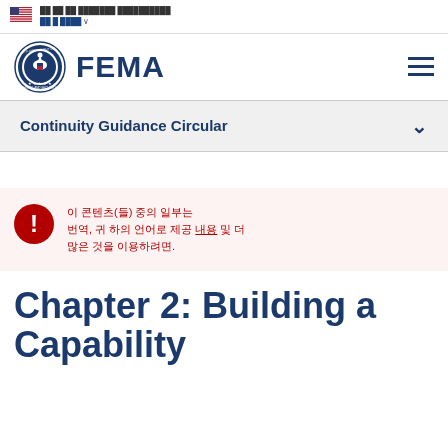An official website of the United States government. Here's how you know
FEMA
Continuity Guidance Circular
이 콘텐츠(들) 중의 일부는, 귀 하의 언어로 제공 내용 및 더 많은 것을 이용하려면.
Chapter 2: Building a Capability